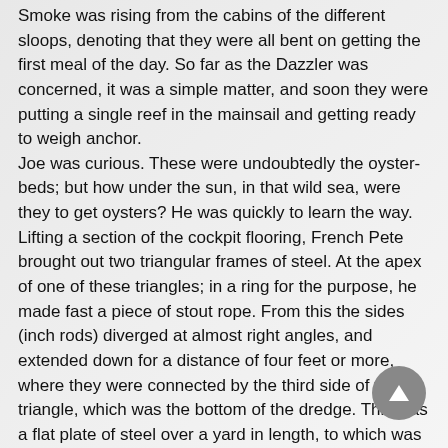Smoke was rising from the cabins of the different sloops, denoting that they were all bent on getting the first meal of the day. So far as the Dazzler was concerned, it was a simple matter, and soon they were putting a single reef in the mainsail and getting ready to weigh anchor. Joe was curious. These were undoubtedly the oyster-beds; but how under the sun, in that wild sea, were they to get oysters? He was quickly to learn the way. Lifting a section of the cockpit flooring, French Pete brought out two triangular frames of steel. At the apex of one of these triangles; in a ring for the purpose, he made fast a piece of stout rope. From this the sides (inch rods) diverged at almost right angles, and extended down for a distance of four feet or more, where they were connected by the third side of the triangle, which was the bottom of the dredge. This was a flat plate of steel over a yard in length, to which was bolted a row of long, sharp teeth, likewise of steel. Attached to the toothed plate, and to the sides of the frame was a net of very coarse fishing-twine, which Joe correctly surmised was there to catch the oysters raked loose by the teeth from the bottom of the bay. A rope being made fast to each of the dredges, they were dropped overboard from either side of the Dazzler. When